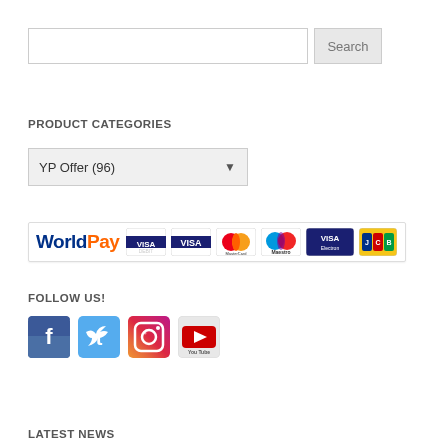Search
PRODUCT CATEGORIES
YP Offer (96)
[Figure (logo): WorldPay payment logos: WorldPay, Visa Debit, Visa, MasterCard, Maestro, Visa Electron, JCB]
FOLLOW US!
[Figure (logo): Social media icons: Facebook, Twitter, Instagram, YouTube]
LATEST NEWS